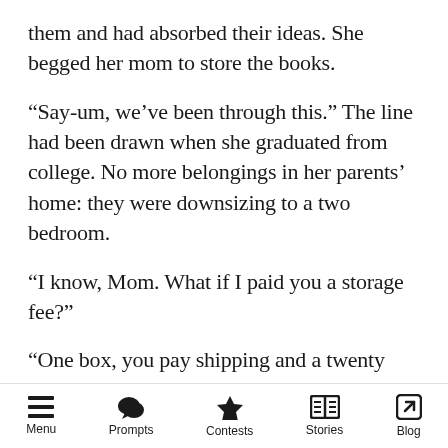them and had absorbed their ideas. She begged her mom to store the books.
“Say-um, we’ve been through this.” The line had been drawn when she graduated from college. No more belongings in her parents’ home: they were downsizing to a two bedroom.
“I know, Mom. What if I paid you a storage fee?”
“One box, you pay shipping and a twenty dollar - per year - storage fee. We’ll put it in a closet.”
For two weeks, Sam placed a book into the box only to take it out again to make space for another. She felt like she could probably get rid
Menu   Prompts   Contests   Stories   Blog